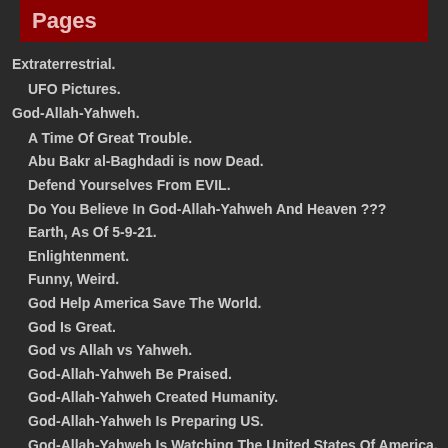Pages
Extraterrestrial.
UFO Pictures.
God-Allah-Yahweh.
A Time Of Great Trouble.
Abu Bakr al-Baghdadi is now Dead.
Defend Yourselves From EVIL.
Do You Believe In God-Allah-Yahweh And Heaven ???
Earth, As Of 5-9-21.
Enlightenment.
Funny, Weird.
God Help America Save The World.
God Is Great.
God vs Allah vs Yahweh.
God-Allah-Yahweh Be Praised.
God-Allah-Yahweh Created Humanity.
God-Allah-Yahweh Is Preparing US.
God-Allah-Yahweh Is Watching The United States Of America.